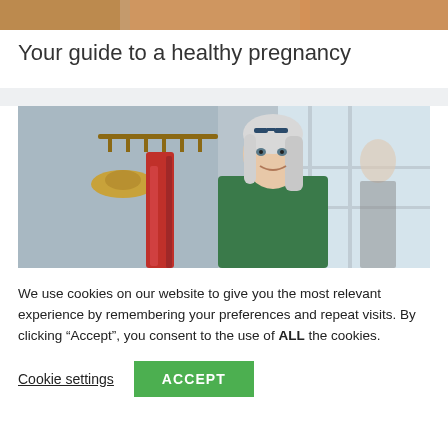[Figure (photo): Partial top image showing person in orange/warm tones, cropped at top of page]
Your guide to a healthy pregnancy
[Figure (photo): Woman with long gray/white hair and glasses on her head, wearing a green jacket, looking out a window. Behind her is a coat rack with a straw hat and red scarf/blanket. Bright window light.]
We use cookies on our website to give you the most relevant experience by remembering your preferences and repeat visits. By clicking “Accept”, you consent to the use of ALL the cookies.
Cookie settings   ACCEPT